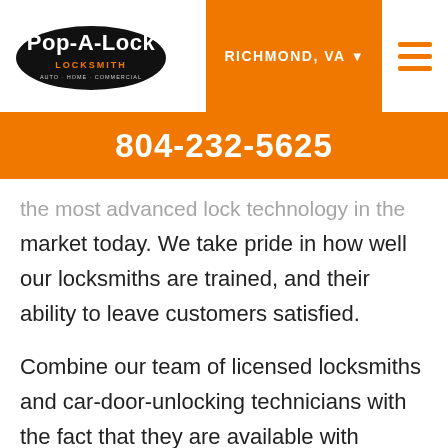[Figure (logo): Pop-A-Lock Locksmith logo in black oval]
RICHMOND, VA ▾
804-232-5625
the most advanced lock technology in the market today. We take pride in how well our locksmiths are trained, and their ability to leave customers satisfied.
Combine our team of licensed locksmiths and car-door-unlocking technicians with the fact that they are available with around-the-clock service and you can see why we